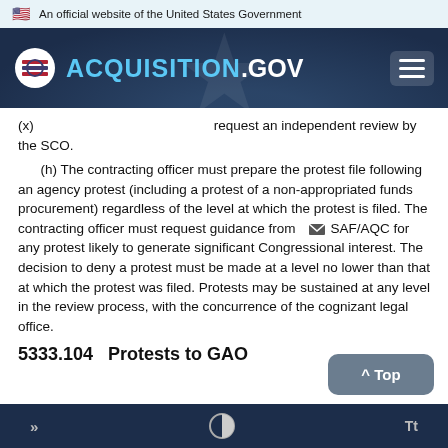An official website of the United States Government
[Figure (logo): ACQUISITION.GOV website logo with hamburger menu on dark navy header]
(x) ... request an independent review by the SCO.
(h) The contracting officer must prepare the protest file following an agency protest (including a protest of a non-appropriated funds procurement) regardless of the level at which the protest is filed. The contracting officer must request guidance from SAF/AQC for any protest likely to generate significant Congressional interest. The decision to deny a protest must be made at a level no lower than that at which the protest was filed. Protests may be sustained at any level in the review process, with the concurrence of the cognizant legal office.
5333.104   Protests to GAO
» contrast toggle Tt